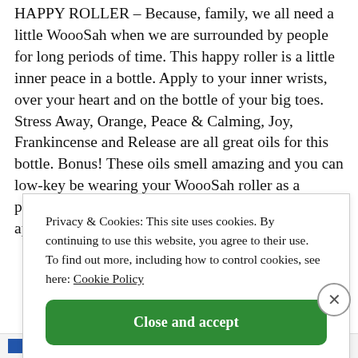HAPPY ROLLER – Because, family, we all need a little WoooSah when we are surrounded by people for long periods of time. This happy roller is a little inner peace in a bottle. Apply to your inner wrists, over your heart and on the bottle of your big toes. Stress Away, Orange, Peace & Calming, Joy, Frankincense and Release are all great oils for this bottle. Bonus! These oils smell amazing and you can low-key be wearing your WoooSah roller as a perfume. In a pinch, or at night before bed, you can apply Frankincense neat to
Privacy & Cookies: This site uses cookies. By continuing to use this website, you agree to their use.
To find out more, including how to control cookies, see here: Cookie Policy
Close and accept